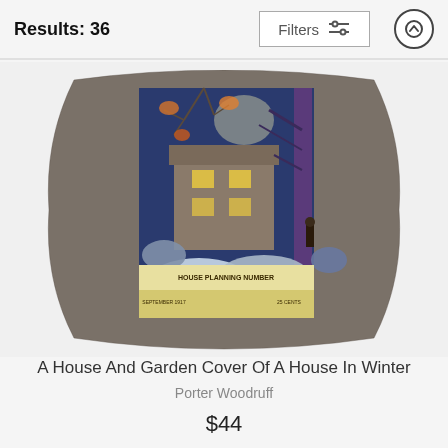Results: 36
[Figure (screenshot): Filters button with sliders icon and up-arrow circle button in top navigation bar]
[Figure (photo): A decorative throw pillow featuring artwork of a house and garden in winter, with a magazine cover illustration showing a snowy scene with trees, a house, and the text HOUSE PLANNING NUMBER. The pillow has a gray/taupe background.]
A House And Garden Cover Of A House In Winter
Porter Woodruff
$44